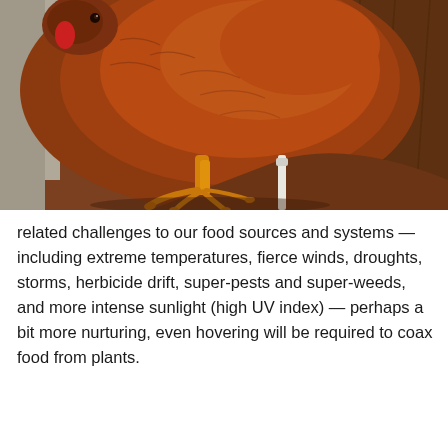[Figure (photo): Close-up photograph of a brown/red hen chicken viewed from above, showing its plumage, red comb, and scaly feet/talons on a wooden surface with a concrete wall in the background.]
related challenges to our food sources and systems — including extreme temperatures, fierce winds, droughts, storms, herbicide drift, super-pests and super-weeds, and more intense sunlight (high UV index) — perhaps a bit more nurturing, even hovering will be required to coax food from plants.